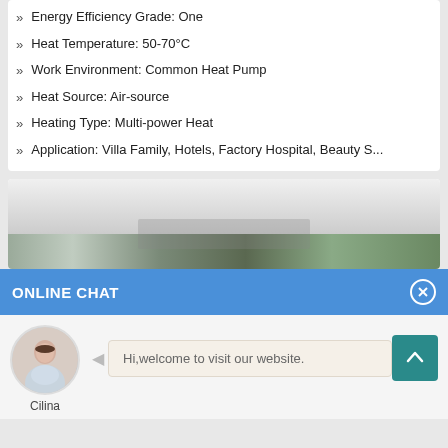Energy Efficiency Grade: One
Heat Temperature: 50-70°C
Work Environment: Common Heat Pump
Heat Source: Air-source
Heating Type: Multi-power Heat
Application: Villa Family, Hotels, Factory Hospital, Beauty S...
[Figure (photo): Product image of heat pump equipment, partially visible]
ONLINE CHAT
[Figure (photo): Avatar photo of a woman named Cilina with a chat bubble saying Hi,welcome to visit our website.]